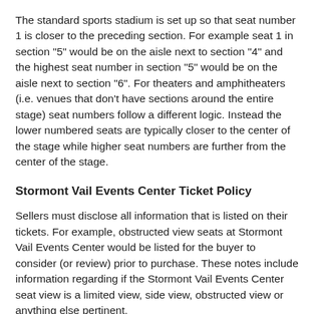The standard sports stadium is set up so that seat number 1 is closer to the preceding section. For example seat 1 in section "5" would be on the aisle next to section "4" and the highest seat number in section "5" would be on the aisle next to section "6". For theaters and amphitheaters (i.e. venues that don't have sections around the entire stage) seat numbers follow a different logic. Instead the lower numbered seats are typically closer to the center of the stage while higher seat numbers are further from the center of the stage.
Stormont Vail Events Center Ticket Policy
Sellers must disclose all information that is listed on their tickets. For example, obstructed view seats at Stormont Vail Events Center would be listed for the buyer to consider (or review) prior to purchase. These notes include information regarding if the Stormont Vail Events Center seat view is a limited view, side view, obstructed view or anything else pertinent.